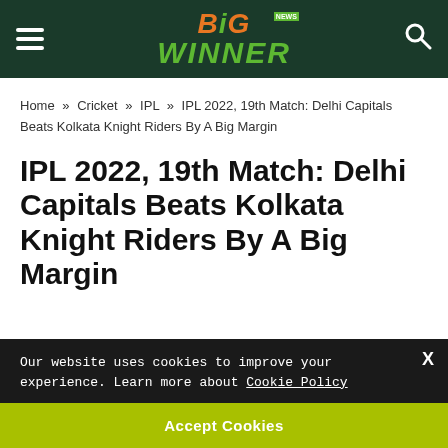BiG WINNER News
Home » Cricket » IPL » IPL 2022, 19th Match: Delhi Capitals Beats Kolkata Knight Riders By A Big Margin
IPL 2022, 19th Match: Delhi Capitals Beats Kolkata Knight Riders By A Big Margin
Our website uses cookies to improve your experience. Learn more about Cookie Policy
Accept Cookies